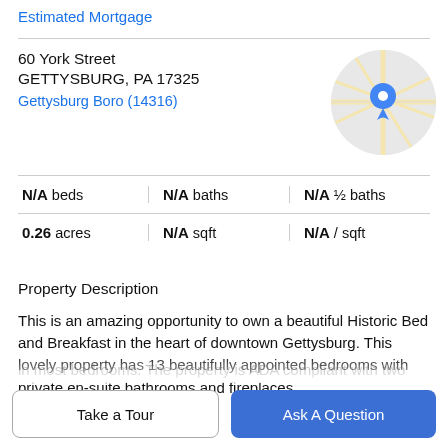Estimated Mortgage
60 York Street
GETTYSBURG, PA 17325
Gettysburg Boro (14316)
[Figure (map): Circular map thumbnail showing Gettysburg location with blue pin marker on street map]
N/A beds | N/A baths | N/A ½ baths
0.26 acres | N/A sqft | N/A / sqft
Property Description
This is an amazing opportunity to own a beautiful Historic Bed and Breakfast in the heart of downtown Gettysburg. This lovely property has 13 beautifully appointed bedrooms with private en-suite bathrooms and fireplaces in most bedrooms. The property is ADA compliant with two
Take a Tour
Ask A Question